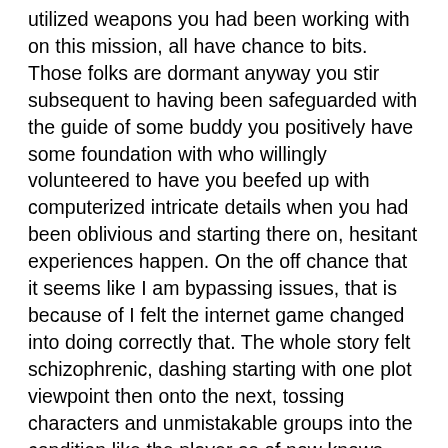utilized weapons you had been working with on this mission, all have chance to bits. Those folks are dormant anyway you stir subsequent to having been safeguarded with the guide of some buddy you positively have some foundation with who willingly volunteered to have you beefed up with computerized intricate details when you had been oblivious and starting there on, hesitant experiences happen. On the off chance that it seems like I am bypassing issues, that is because of I felt the internet game changed into doing correctly that. The whole story felt schizophrenic, dashing starting with one plot viewpoint then onto the next, tossing characters and unmistakable groups into the condition like the player as of now knows about extra about this world than the internet game itself minded to explain to any fulfillment. Genuinely from the get-go I quit any pretense of thinking often too tons about what mcguffin I used to be suspected to pursue for sure I was envisioned to do and simply needed to get to the resulting round of catching the follows in the ensuing dim